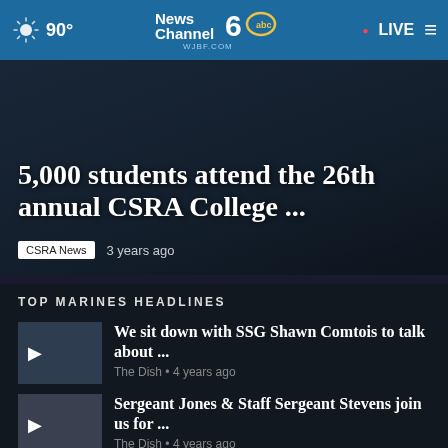90° NewsChannel 6 abc WJBF.COM • LIVE
5,000 students attend the 26th annual CSRA College …
CSRA News   3 years ago
TOP MARINES HEADLINES
We sit down with SSG Shawn Comtois to talk about …
The Dish • 4 years ago
Sergeant Jones & Staff Sergeant Stevens join us for …
The Dish • 4 years ago
NROTC Marine Option Scholarship Program